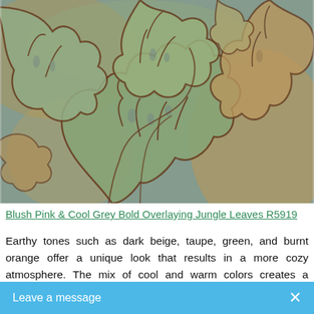[Figure (illustration): Large decorative textile/wallpaper pattern showing overlapping tropical monstera leaves in earthy tones of dark beige, taupe, green, and burnt orange with dark brown outlines on a muted blue-grey background.]
Blush Pink & Cool Grey Bold Overlaying Jungle Leaves R5919
Earthy tones such as dark beige, taupe, green, and burnt orange offer a unique look that results in a more cozy atmosphere. The mix of cool and warm colors creates a contrast that's not only pleasing to the eye, but engages viewers as well. Bold Overlaying